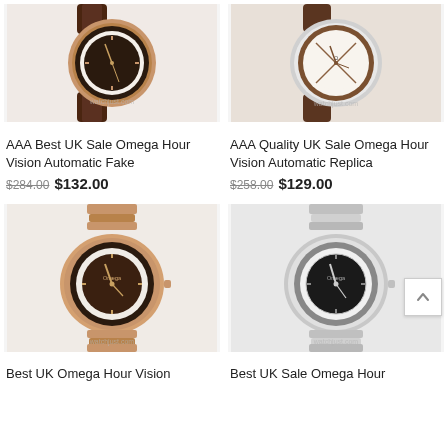[Figure (photo): Omega Hour Vision watch with rose gold case and dark brown leather strap, brown dial]
AAA Best UK Sale Omega Hour Vision Automatic Fake
$284.00 $132.00
[Figure (photo): Omega Hour Vision watch with silver case and brown leather strap, white/cream dial]
AAA Quality UK Sale Omega Hour Vision Automatic Replica
$258.00 $129.00
[Figure (photo): Omega Hour Vision watch with rose gold case and bracelet, dark brown dial]
Best UK Omega Hour Vision
[Figure (photo): Omega Hour Vision watch with silver steel case and bracelet, black dial]
Best UK Sale Omega Hour